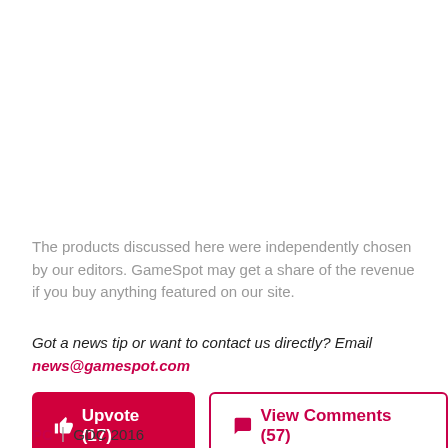The products discussed here were independently chosen by our editors. GameSpot may get a share of the revenue if you buy anything featured on our site.
Got a news tip or want to contact us directly? Email news@gamespot.com
Upvote (17)   View Comments (57)
PC | GDC 2016